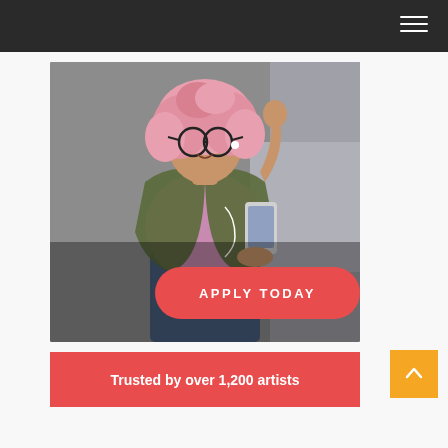[Figure (photo): Young woman with pink curly hair, glasses, wearing a green jacket over a pink shirt, listening to music via earphones and holding a smartphone, smiling and walking outdoors on an urban street. An 'APPLY TODAY' call-to-action button overlays the lower portion of the image.]
Trusted by over 1,200 artists